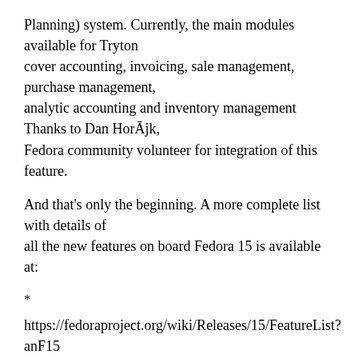Planning) system.  Currently, the main modules available for Tryton cover accounting, invoicing, sale management, purchase management, analytic accounting and inventory management   Thanks to Dan HorÃ¡k, Fedora community volunteer for integration of this feature.
And that's only the beginning.  A more complete list with details of all the new features on board Fedora 15 is available at:
*
https://fedoraproject.org/wiki/Releases/15/FeatureList?anF15
== Download and upgrading ==